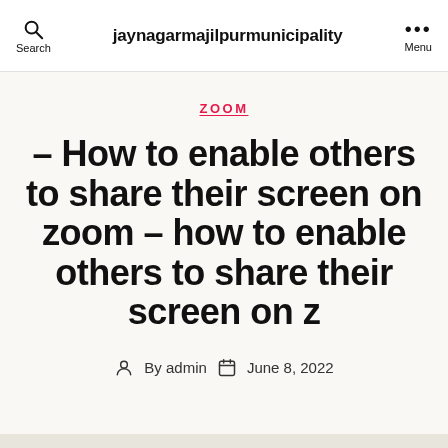Search | jaynagarmajilpurmunicipality | Menu
ZOOM
– How to enable others to share their screen on zoom – how to enable others to share their screen on z
By admin  June 8, 2022